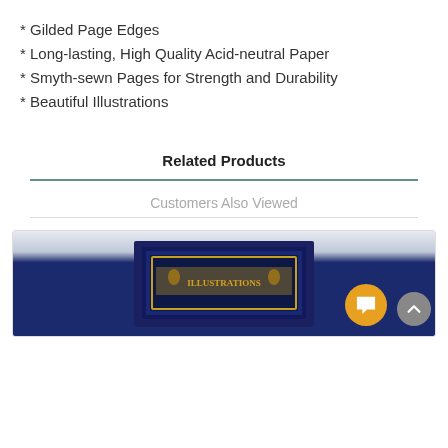* Gilded Page Edges
* Long-lasting, High Quality Acid-neutral Paper
* Smyth-sewn Pages for Strength and Durability
* Beautiful Illustrations
Related Products
Customers Also Viewed
[Figure (photo): Book product photo showing a dark blue book cover with gold illustrated decorative elements and text, partially visible inside a product card]